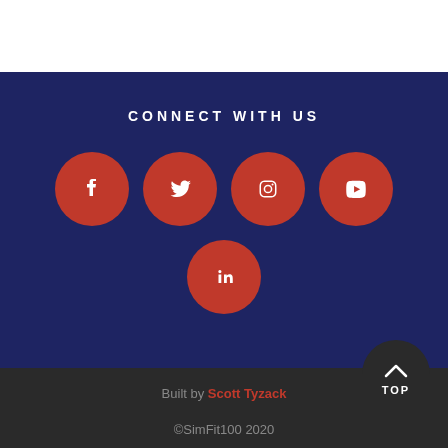CONNECT WITH US
[Figure (infographic): Five social media icon circles (Facebook, Twitter, Instagram, YouTube, LinkedIn) in red on a dark blue background. Four icons in a row on top, LinkedIn centered below.]
Built by Scott Tyzack
©SimFit100 2020